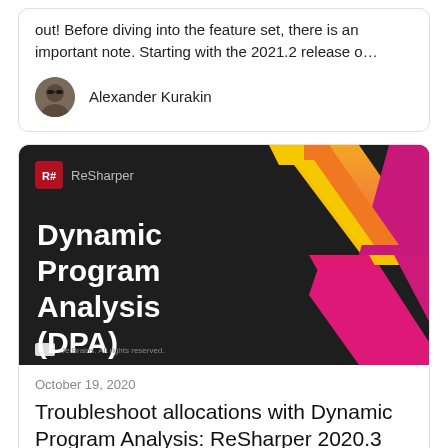out! Before diving into the feature set, there is an important note. Starting with the 2021.2 release o…
Alexander Kurakin
[Figure (illustration): ReSharper branded thumbnail image with dark background showing 'Dynamic Program Analysis (DPA)' text in white bold font on the left, and colorful geometric arrow shapes (yellow/orange and pink/magenta) on the right. ReSharper logo and name shown in upper left.]
October 19, 2020
Troubleshoot allocations with Dynamic Program Analysis: ReSharper 2020.3 EAP…